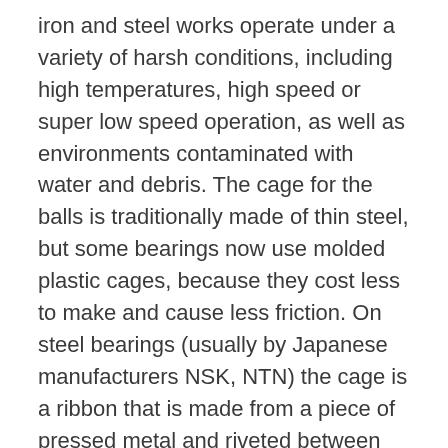iron and steel works operate under a variety of harsh conditions, including high temperatures, high speed or super low speed operation, as well as environments contaminated with water and debris. The cage for the balls is traditionally made of thin steel, but some bearings now use molded plastic cages, because they cost less to make and cause less friction. On steel bearings (usually by Japanese manufacturers NSK, NTN) the cage is a ribbon that is made from a piece of pressed metal and riveted between balls. Bearings specialist with technical expertise, good service and excellent delivery precision. Ritbearing can design and quickly deliver custom engineered bearings for your specialty application without requiring high volume order quantities. Hybrid ceramic bearings are the equivalent of trying to run a locomotive on an asphalt road – the hardness differential causes the road